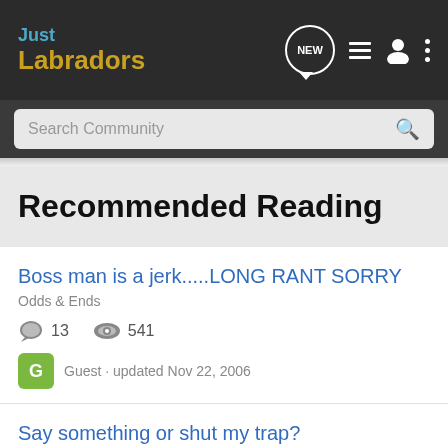Just Labradors
Search Community
Recommended Reading
Boss man is a jerk.....LONG RANT SORRY | Odds & Ends | 13 comments | 541 views | Guest · updated Nov 22, 2006
Say something or shut my trap? | Odds & Ends | 20 comments | 434 views